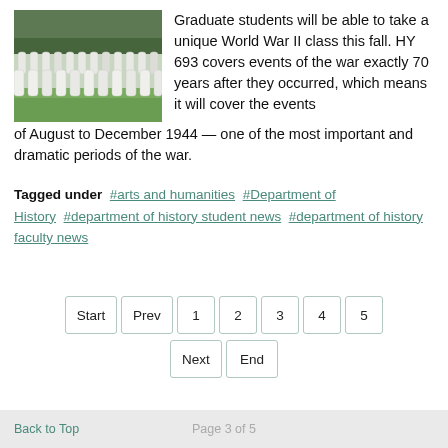[Figure (photo): Military cemetery with rows of white headstones on green grass, trees in background.]
Graduate students will be able to take a unique World War II class this fall. HY 693 covers events of the war exactly 70 years after they occurred, which means it will cover the events of August to December 1944 — one of the most important and dramatic periods of the war.
Tagged under  #arts and humanities  #Department of History  #department of history student news  #department of history faculty news
Start  Prev  1  2  3  4  5  Next  End
Back to Top   Page 3 of 5